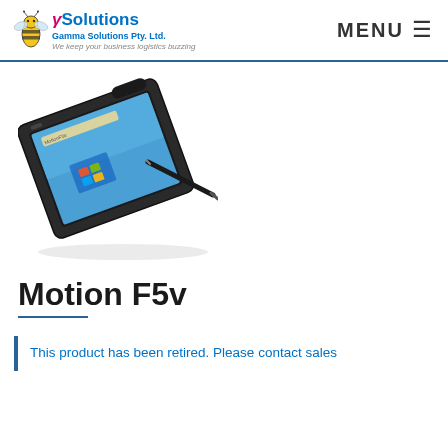Gamma Solutions Pty. Ltd. — We keep your business logistics buzzing | MENU
[Figure (photo): Motion F5v rugged tablet PC shown at an angle with a stylus pen, displaying Windows 7 interface on the screen]
Motion F5v
This product has been retired. Please contact sales